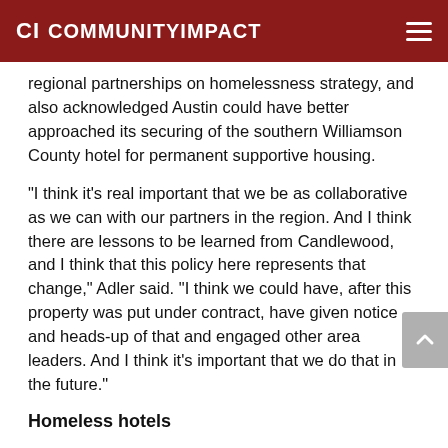CI COMMUNITYIMPACT
regional partnerships on homelessness strategy, and also acknowledged Austin could have better approached its securing of the southern Williamson County hotel for permanent supportive housing.
"I think it’s real important that we be as collaborative as we can with our partners in the region. And I think there are lessons to be learned from Candlewood, and I think that this policy here represents that change," Adler said. "I think we could have, after this property was put under contract, have given notice and heads-up of that and engaged other area leaders. And I think it’s important that we do that in the future."
Homeless hotels